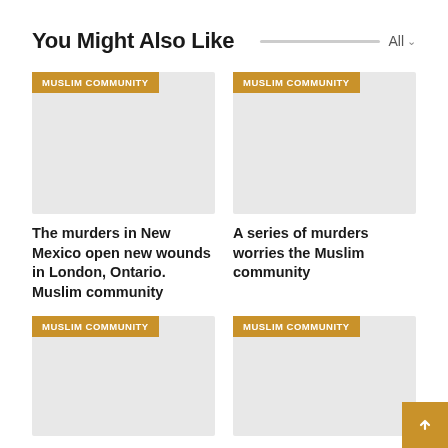You Might Also Like
[Figure (screenshot): Card image placeholder with MUSLIM COMMUNITY badge - The murders in New Mexico open new wounds in London, Ontario. Muslim community]
The murders in New Mexico open new wounds in London, Ontario. Muslim community
[Figure (screenshot): Card image placeholder with MUSLIM COMMUNITY badge - A series of murders worries the Muslim community]
A series of murders worries the Muslim community
[Figure (screenshot): Card image placeholder with MUSLIM COMMUNITY badge - Albuquerque's Muslim]
Albuquerque's Muslim
[Figure (screenshot): Card image placeholder with MUSLIM COMMUNITY badge - Modi govt. renews its]
Modi govt. renews its